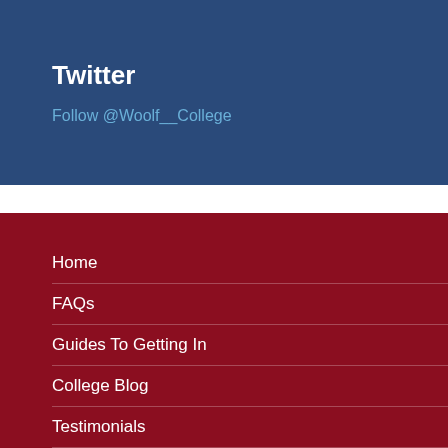Twitter
Follow @Woolf__College
Home
FAQs
Guides To Getting In
College Blog
Testimonials
Contact